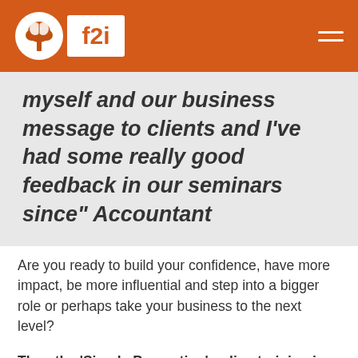[Figure (logo): f2i communications logo with tree and brain icon on orange header bar, with hamburger menu icon on the right]
myself and our business message to clients and I've had some really good feedback in our seminars since" Accountant
Are you ready to build your confidence, have more impact, be more influential and step into a bigger role or perhaps take your business to the next level?
Then the 'Simply Presenting' online training is for you.